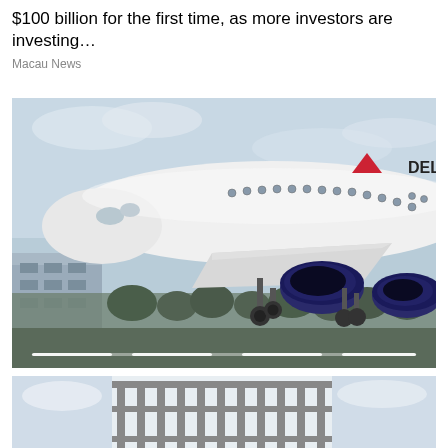$100 billion for the first time, as more investors are investing…
Macau News
[Figure (photo): Delta Air Lines aircraft on approach to landing, photographed from below showing the undercarriage, engines, and Delta logo on fuselage, with airport buildings and trees in background]
[Figure (photo): Partial view of a building or structure with metal framework, appears to be bottom of page]